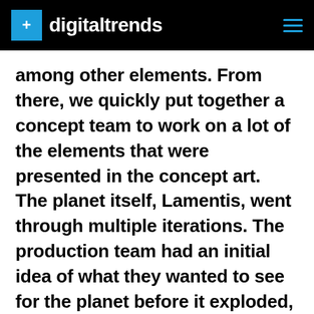digitaltrends
among other elements. From there, we quickly put together a concept team to work on a lot of the elements that were presented in the concept art.
The planet itself, Lamentis, went through multiple iterations. The production team had an initial idea of what they wanted to see for the planet before it exploded, but we went through a couple of rounds of concept work with them. We looked at what